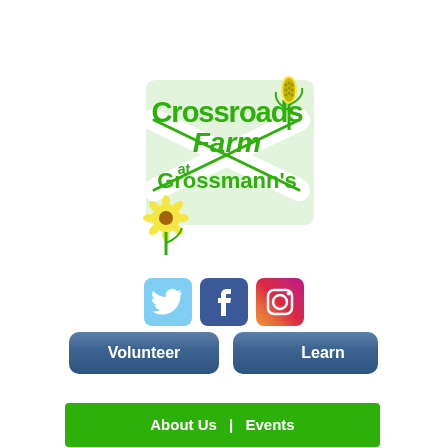[Figure (logo): Crossroads Farm at Grossmann's logo — green text with sunflower and crossed barn icon]
[Figure (infographic): Social media icons: Twitter (blue bird), Facebook (blue f), Instagram (gradient camera)]
Volunteer
Donate
Learn
About Us  |  Events